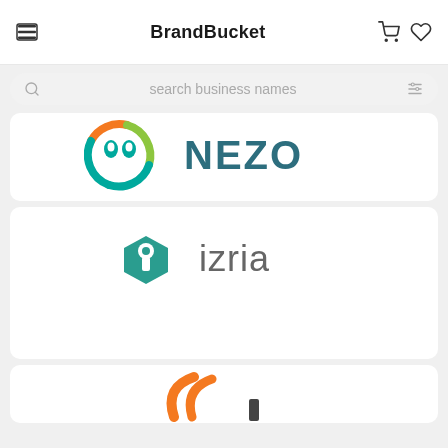BrandBucket
search business names
[Figure (logo): NEZO brand logo with colorful circular swoosh mark and teal/dark text]
[Figure (logo): izria brand logo with teal hexagon icon featuring a keyhole and gray lowercase text]
[Figure (logo): Partial logo partially visible at bottom of page with orange swoosh mark]